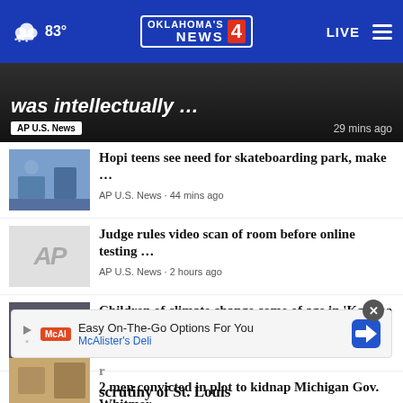[Figure (screenshot): Oklahoma's News 4 website header with weather showing 83°, logo, LIVE button, and hamburger menu]
was intellectually …
AP U.S. News • 29 mins ago
Hopi teens see need for skateboarding park, make …
AP U.S. News • 44 mins ago
Judge rules video scan of room before online testing …
AP U.S. News • 2 hours ago
Children of climate change come of age in 'Katrina …
AP U.S. News • 4 hours ago
2 men convicted in plot to kidnap Michigan Gov. Whitmer
Easy On-The-Go Options For You
McAlister's Deli
scrutiny of St. Louis